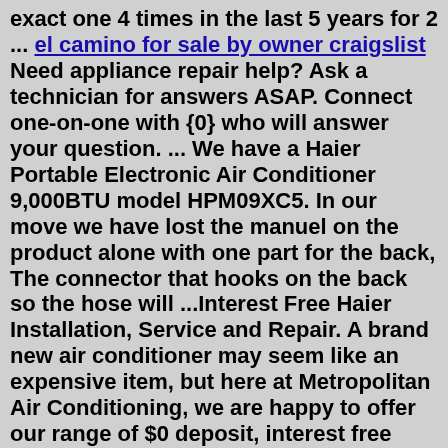exact one 4 times in the last 5 years for 2 ... el camino for sale by owner craigslist Need appliance repair help? Ask a technician for answers ASAP. Connect one-on-one with {0} who will answer your question. ... We have a Haier Portable Electronic Air Conditioner 9,000BTU model HPM09XC5. In our move we have lost the manuel on the product alone with one part for the back, The connector that hooks on the back so the hose will ...Interest Free Haier Installation, Service and Repair. A brand new air conditioner may seem like an expensive item, but here at Metropolitan Air Conditioning, we are happy to offer our range of $0 deposit, interest free payment plans**.Our plans offer you the flexibility of paying off your service when you are able to, instead of being lumped with upfront costs that can disrupt your finances.Jun 04, 2022 · Code: E1. Flash time of compressor running indicate lamp: 1. Trouble contents (old): indoor temperature sensor broken. Trouble contents (new): indoor temperature sensor broken. Code: E2. Flash time of compressor running indicate lamp: 2. Trouble